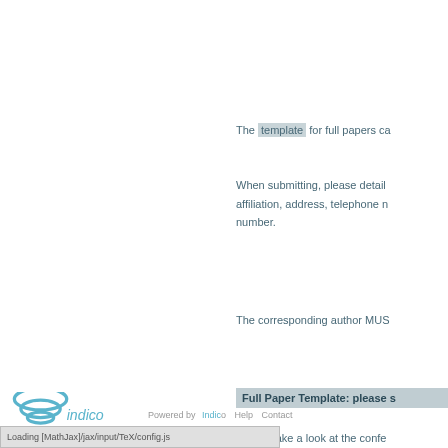The template for full papers ca
When submitting, please detail affiliation, address, telephone number.
The corresponding author MUS
Full Paper Template: please s
Please take a look at the confe
Powered by Indico · Help · Contact